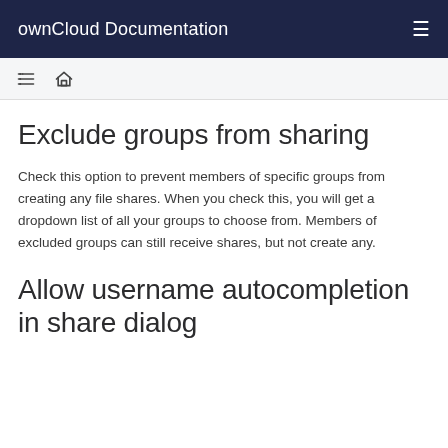ownCloud Documentation
Exclude groups from sharing
Check this option to prevent members of specific groups from creating any file shares. When you check this, you will get a dropdown list of all your groups to choose from. Members of excluded groups can still receive shares, but not create any.
Allow username autocompletion in share dialog